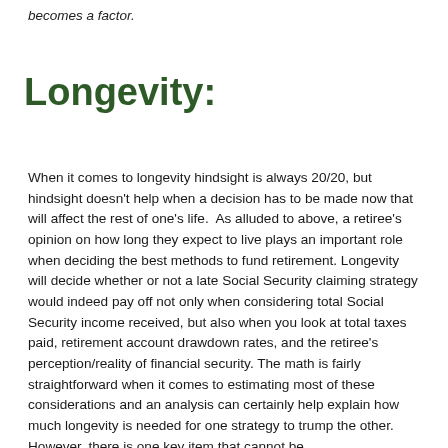becomes a factor.
Longevity:
When it comes to longevity hindsight is always 20/20, but hindsight doesn't help when a decision has to be made now that will affect the rest of one's life.  As alluded to above, a retiree's opinion on how long they expect to live plays an important role when deciding the best methods to fund retirement. Longevity will decide whether or not a late Social Security claiming strategy would indeed pay off not only when considering total Social Security income received, but also when you look at total taxes paid, retirement account drawdown rates, and the retiree's perception/reality of financial security. The math is fairly straightforward when it comes to estimating most of these considerations and an analysis can certainly help explain how much longevity is needed for one strategy to trump the other.  However, there is one key item that cannot be